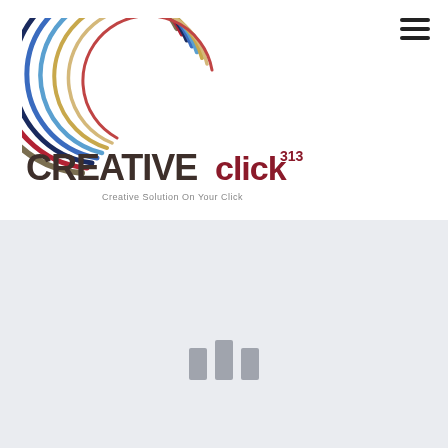[Figure (logo): CreativeClick313 logo with a stylized multicolored C arc above bold dark text CREATIVE in dark brown/gray and 'click' in dark red with superscript '313', and tagline 'Creative Solution On Your Click' below]
[Figure (other): Hamburger menu icon (three horizontal lines) in top right corner]
[Figure (other): Light gray/blue background section occupying the lower half of the page with three small vertical gray loading bars centered near the bottom]